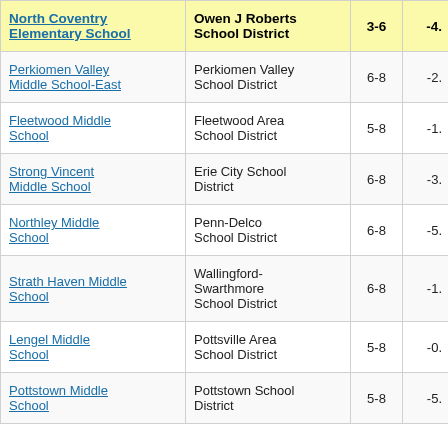| North Coventry Elementary School | Owen J Roberts School District | 3-6 | -4. |
| --- | --- | --- | --- |
| Perkiomen Valley Middle School-East | Perkiomen Valley School District | 6-8 | -2. |
| Fleetwood Middle School | Fleetwood Area School District | 5-8 | -1. |
| Strong Vincent Middle School | Erie City School District | 6-8 | -3. |
| Northley Middle School | Penn-Delco School District | 6-8 | -5. |
| Strath Haven Middle School | Wallingford-Swarthmore School District | 6-8 | -1. |
| Lengel Middle School | Pottsville Area School District | 5-8 | -0. |
| Pottstown Middle School | Pottstown School District | 5-8 | -5. |